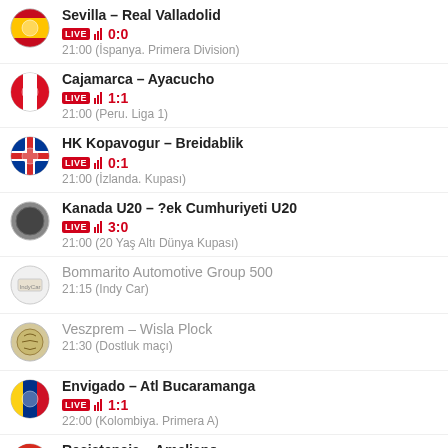Sevilla – Real Valladolid
LIVE ||| 0:0
21:00 (İspanya. Primera Division)
Cajamarca – Ayacucho
LIVE ||| 1:1
21:00 (Peru. Liga 1)
HK Kopavogur – Breidablik
LIVE ||| 0:1
21:00 (İzlanda. Kupası)
Kanada U20 – ?ek Cumhuriyeti U20
LIVE ||| 3:0
21:00 (20 Yaş Altı Dünya Kupası)
Bommarito Automotive Group 500
21:15 (Indy Car)
Veszprem – Wisla Plock
21:30 (Dostluk maçı)
Envigado – Atl Bucaramanga
LIVE ||| 1:1
22:00 (Kolombiya. Primera A)
Resistencia – Ameliano
LIVE ||| 0:0
22:00 (Paraguay. Primera Division)
Monagas – Hermanos Colmenarez
LIVE ||| 1:1
22:00 (Venezuela. Primera Division)
Online Live League
LIVE |||
22:00 (Life Darts)
Babos (K) / Kulikova (K) – Lizette